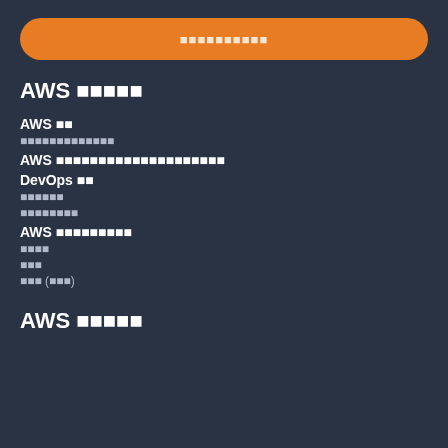[Figure (other): Orange rounded button with Japanese/Korean text]
AWS 서비스
AWS 기초
컴퓨팅클라우드서비스설명
AWS 스토리지서비스및데이터베이스서비스
DevOps 도구
모니터링
자동화도구
AWS 네트워킹서비스
보안설정
비용
비용 (추가)
AWS 아키텍처